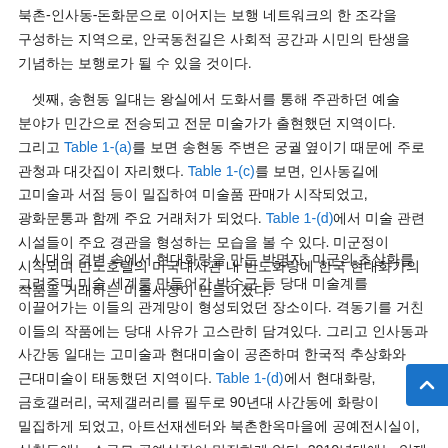북촌-인사동-돈화문으로 이어지는 보행 네트워크의 한 조각을 구성하는 지역으로, 안국동천길은 사회적 공간과 시민의 탄생을 기념하는 보행로가 될 수 있을 것이다.
셋째, 송현동 일대는 왕실에서 도화서를 통해 주관하던 예술 분야가 민간으로 전승되고 전문 미술가가 출현했던 지역이다. 그리고 Table 1-(a)를 보면 송현동 주변은 궁궐 옆이기 때문에 주로 관청과 대갓집이 자리했다. Table 1-(c)를 보면, 인사동길에 고미술과 서점 등이 밀집하여 미술품 판매가 시작되었고, 광화문통과 함께 주요 거래처가 되었다. Table 1-(d)에서 미술 관련 시설들이 주요 경관을 형성하는 모습을 볼 수 있다. 미군정이 시작되며 반도호텔의 미국대사관 내 반도화랑에 한국 현대화가의 작품을 거래하는 미술시장이 만들어졌다.
시대의 격변 속에서 현대화랑을 만든 박명자, 미군의 초상화를 그려주며 미술 세계를 만들어간 박수근 등 당대 미술계를 이끌어가는 이들의 관계망이 형성되었던 장소이다. 격동기를 거친 이들의 작품에는 당대 사유가 고스란히 담겨있다. 그리고 인사동과 사간동 일대는 고미술과 현대미술이 공존하며 한국적 추상화와 근대미술이 태동했던 지역이다. Table 1-(d)에서 현대화랑, 금호갤러리, 국제갤러리를 필두로 90년대 사간동에 화랑이 밀집하게 되었고, 아트선재센터와 북촌한옥마을에 공예전시실이, 삼청동에는 소규모 공예상점이 밀집하게 었다. 2010년대에는 일제 강점기에 경성 의과대학이었던 기무사령부 터가 국립현대미술관으로 시민에게 공개되었고, 안동별궁터에 서울 공예박물관이 오픈